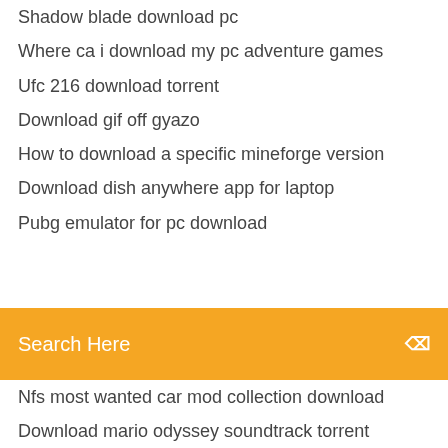Shadow blade download pc
Where ca i download my pc adventure games
Ufc 216 download torrent
Download gif off gyazo
How to download a specific mineforge version
Download dish anywhere app for laptop
Pubg emulator for pc download
Search Here
Nfs most wanted car mod collection download
Download mario odyssey soundtrack torrent
The fortress korean movie torrent download
Quark series download torrent -xpress
Newroads version 4.0 download
Upgrading lightroom from downloaded version to cc
Neflix not downloading pc fix
List of all apps ive downloaded
Download android ndk 16
Steamworkshop mod download id